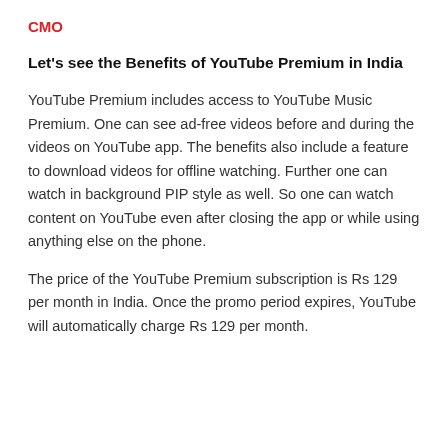CMO
Let's see the Benefits of YouTube Premium in India
YouTube Premium includes access to YouTube Music Premium. One can see ad-free videos before and during the videos on YouTube app. The benefits also include a feature to download videos for offline watching. Further one can watch in background PIP style as well. So one can watch content on YouTube even after closing the app or while using anything else on the phone.
The price of the YouTube Premium subscription is Rs 129 per month in India. Once the promo period expires, YouTube will automatically charge Rs 129 per month.